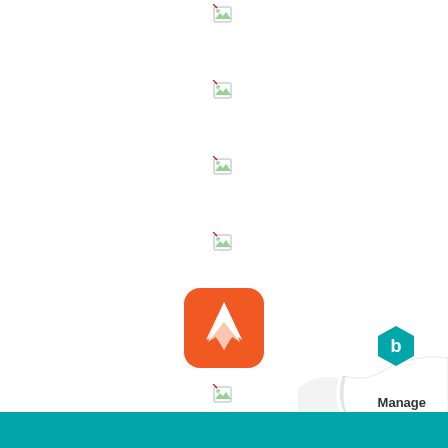[Figure (illustration): Seven broken image placeholder icons arranged vertically in the center of the page]
[Figure (logo): Orange rounded square icon with a white arrow/navigation symbol (Strava-like app icon)]
[Figure (illustration): Page curl decoration in the bottom right corner with Bitrix24 Manage logo]
Manage